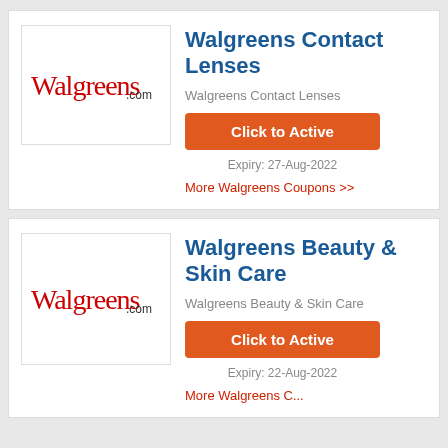[Figure (logo): Walgreens.com logo with red cursive Walgreens text and .com in grey]
Walgreens Contact Lenses
Walgreens Contact Lenses
Click to Active
Expiry: 27-Aug-2022
More Walgreens Coupons >>
[Figure (logo): Walgreens.com logo with red cursive Walgreens text and .com in grey]
Walgreens Beauty & Skin Care
Walgreens Beauty & Skin Care
Click to Active
Expiry: 22-Aug-2022
More Walgreens C...